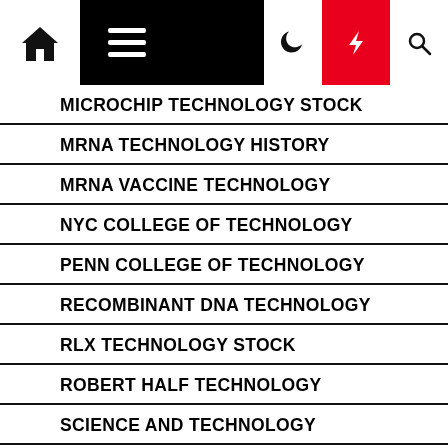Navigation bar with home, menu, dark mode, lightning, and search icons
MICROCHIP TECHNOLOGY STOCK
MRNA TECHNOLOGY HISTORY
MRNA VACCINE TECHNOLOGY
NYC COLLEGE OF TECHNOLOGY
PENN COLLEGE OF TECHNOLOGY
RECOMBINANT DNA TECHNOLOGY
RLX TECHNOLOGY STOCK
ROBERT HALF TECHNOLOGY
SCIENCE AND TECHNOLOGY
SHARIF UNIVERSITY OF TECHNOLOGY
SMART HOME TECHNOLOGY
STEVENS INSTITUTE OF TECHNOLOGY RANKING